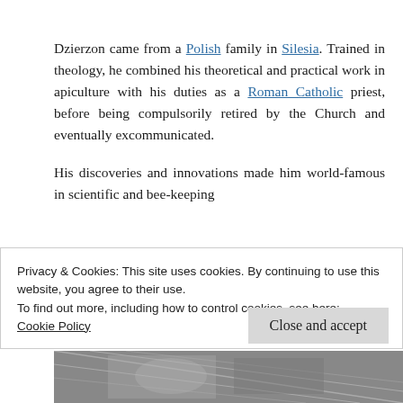Dzierzon came from a Polish family in Silesia. Trained in theology, he combined his theoretical and practical work in apiculture with his duties as a Roman Catholic priest, before being compulsorily retired by the Church and eventually excommunicated.
His discoveries and innovations made him world-famous in scientific and bee-keeping
Privacy & Cookies: This site uses cookies. By continuing to use this website, you agree to their use.
To find out more, including how to control cookies, see here:
Cookie Policy
Close and accept